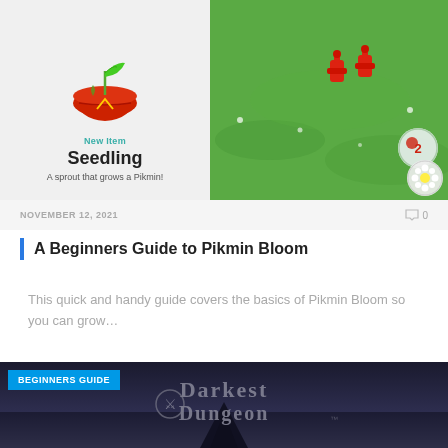[Figure (screenshot): Screenshot of Pikmin Bloom game showing a Seedling item card on the left (red pot with green sprout, labeled 'New Item', 'Seedling', 'A sprout that grows a Pikmin!') and a green grassy field on the right with red hydrant-like enemies and circular bubble UI elements.]
NOVEMBER 12, 2021
0
A Beginners Guide to Pikmin Bloom
This quick and handy guide covers the basics of Pikmin Bloom so you can grow…
[Figure (screenshot): Dark fantasy game title screen for Darkest Dungeon showing logo text in gothic style against a dark stormy background with a pointed figure silhouette.]
BEGINNERS GUIDE